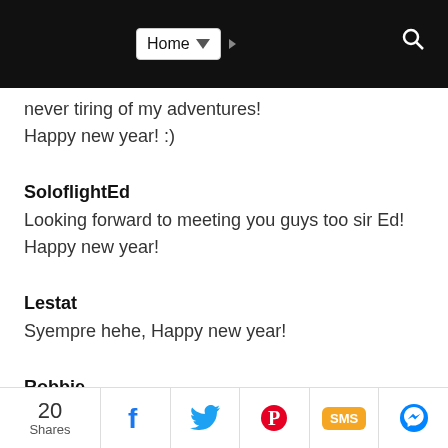Home
never tiring of my adventures! Happy new year! :)
SoloflightEd
Looking forward to meeting you guys too sir Ed! Happy new year!
Lestat
Syempre hehe, Happy new year!
Robbie
Oo nga eh, andami! Todo
20 Shares | Facebook | Twitter | Pinterest | SMS | Messenger